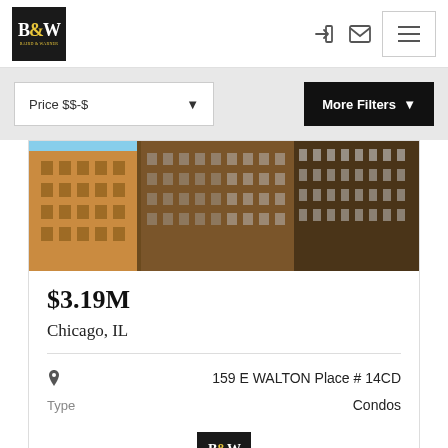[Figure (logo): Baird & Warner logo — black box with B&W text, ampersand in yellow]
Price $$-$  ▼
More Filters ▼
[Figure (photo): Looking-up view of tall Chicago buildings against a blue sky]
$3.19M
Chicago, IL
159 E WALTON Place # 14CD
Type    Condos
[Figure (logo): Baird & Warner small logo at bottom of card]